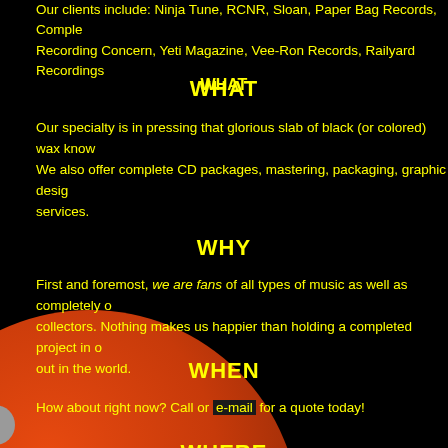Our clients include: Ninja Tune, RCNR, Sloan, Paper Bag Records, Complete Recording Concern, Yeti Magazine, Vee-Ron Records, Railyard Recordings
WHAT
Our specialty is in pressing that glorious slab of black (or colored) wax know... We also offer complete CD packages, mastering, packaging, graphic design services.
WHY
First and foremost, we are fans of all types of music as well as completely obsessive collectors. Nothing makes us happier than holding a completed project in our hands, out in the world.
[Figure (illustration): Large orange/red vinyl record circle partially visible in lower left corner of the page against black background]
WHEN
How about right now? Call or e-mail for a quote today!
WHERE
Our office is located on beautiful Vancouver Island in British Columbia, Can...